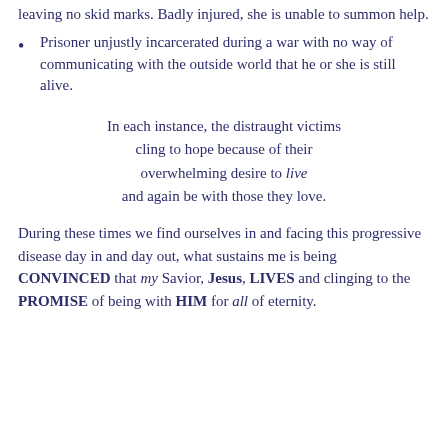leaving no skid marks. Badly injured, she is unable to summon help.
Prisoner unjustly incarcerated during a war with no way of communicating with the outside world that he or she is still alive.
In each instance, the distraught victims cling to hope because of their overwhelming desire to live and again be with those they love.
During these times we find ourselves in and facing this progressive disease day in and day out, what sustains me is being CONVINCED that my Savior, Jesus, LIVES and clinging to the PROMISE of being with HIM for all of eternity.